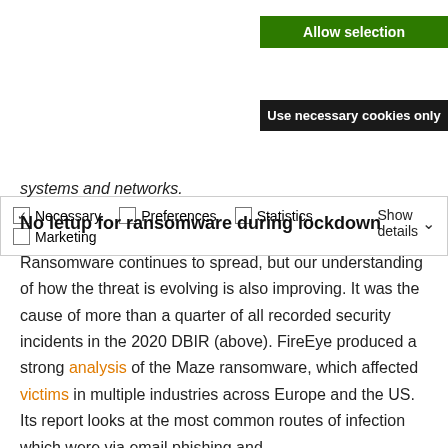[Figure (screenshot): Green 'Allow selection' button]
[Figure (screenshot): Dark 'Use necessary cookies only' button]
| ✓ Necessary | □ Preferences | □ Statistics | Show details ∨ |
| □ Marketing |  |  |  |
systems and networks.
No letup for ransomware during lockdown
Ransomware continues to spread, but our understanding of how the threat is evolving is also improving. It was the cause of more than a quarter of all recorded security incidents in the 2020 DBIR (above). FireEye produced a strong analysis of the Maze ransomware, which affected victims in multiple industries across Europe and the US. Its report looks at the most common routes of infection which were via email phishing and